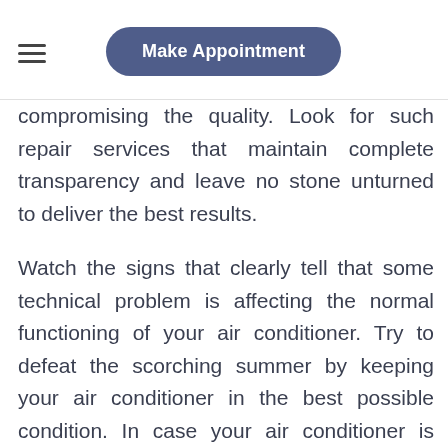Make Appointment
compromising the quality. Look for such repair services that maintain complete transparency and leave no stone unturned to deliver the best results.
Watch the signs that clearly tell that some technical problem is affecting the normal functioning of your air conditioner. Try to defeat the scorching summer by keeping your air conditioner in the best possible condition. In case your air conditioner is making some strange noises, it is time to contact a technician. Take the steps in a timely manner so that